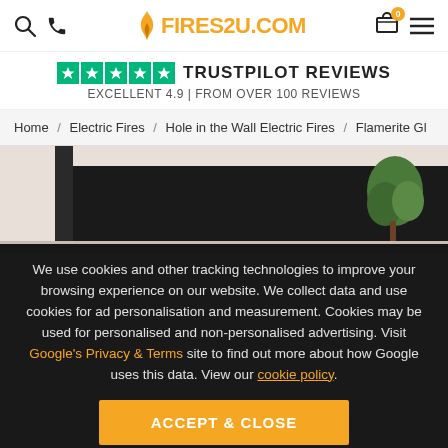FIRES2U.COM header with search, phone, logo, cart (0), and menu icons
TRUSTPILOT REVIEWS — EXCELLENT 4.9 | FROM OVER 100 REVIEWS
Home / Electric Fires / Hole in the Wall Electric Fires / Flamerite Gl
[Figure (photo): Hole-in-the-wall electric fireplace recessed into a white wall, with a small green plant on the right side]
We use cookies and other tracking technologies to improve your browsing experience on our website. We collect data and use cookies for ad personalisation and measurement. Cookies may be used for personalised and non-personalised advertising. Visit Google's Privacy & Terms site to find out more about how Google uses this data. View our cookie policy.
ACCEPT & CLOSE